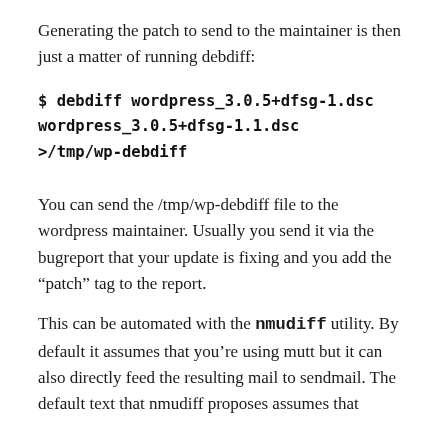Generating the patch to send to the maintainer is then just a matter of running debdiff:
$ debdiff wordpress_3.0.5+dfsg-1.dsc wordpress_3.0.5+dfsg-1.1.dsc >/tmp/wp-debdiff
You can send the /tmp/wp-debdiff file to the wordpress maintainer. Usually you send it via the bugreport that your update is fixing and you add the “patch” tag to the report.
This can be automated with the nmudiff utility. By default it assumes that you’re using mutt but it can also directly feed the resulting mail to sendmail. The default text that nmudiff proposes assumes that